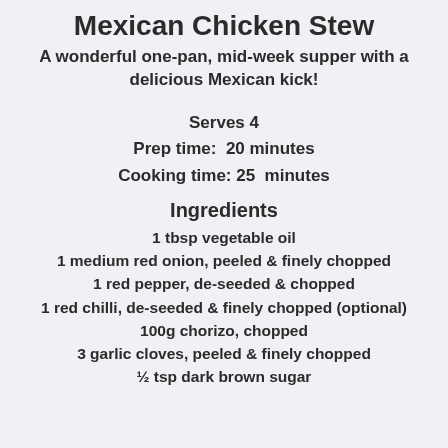Mexican Chicken Stew
A wonderful one-pan, mid-week supper with a delicious Mexican kick!
Serves 4
Prep time:  20 minutes
Cooking time: 25  minutes
Ingredients
1 tbsp vegetable oil
1 medium red onion, peeled & finely chopped
1 red pepper, de-seeded & chopped
1 red chilli, de-seeded & finely chopped (optional)
100g chorizo, chopped
3 garlic cloves, peeled & finely chopped
½ tsp dark brown sugar